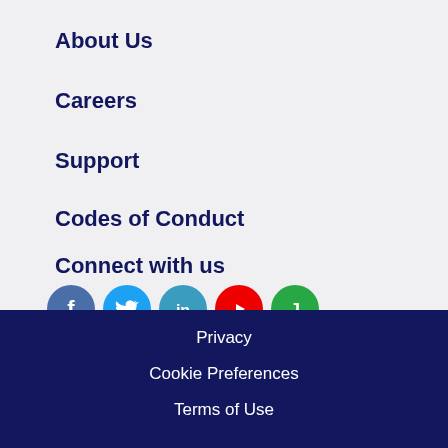About Us
Careers
Support
Codes of Conduct
Connect with us
[Figure (infographic): Row of 5 social media icons: Facebook (dark blue circle), Twitter (light blue circle), LinkedIn (teal/blue circle), YouTube (red circle), and a green circle with a white J logo]
Privacy
Cookie Preferences
Terms of Use